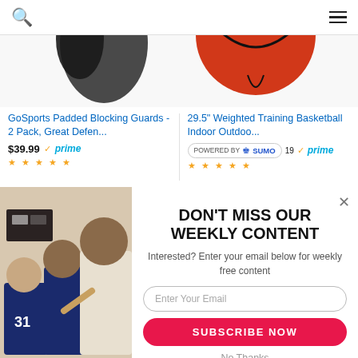Navigation bar with search icon and hamburger menu
[Figure (screenshot): Partial product images: blocking guard pad and basketball]
GoSports Padded Blocking Guards - 2 Pack, Great Defen...
29.5" Weighted Training Basketball Indoor Outdoo...
$39.99 prime
[Figure (logo): POWERED BY SUMO badge with prime label]
[Figure (photo): Basketball coach talking to players wearing navy #31 jerseys in gym]
DON'T MISS OUR WEEKLY CONTENT
Interested? Enter your email below for weekly free content
Enter Your Email
SUBSCRIBE NOW
No Thanks